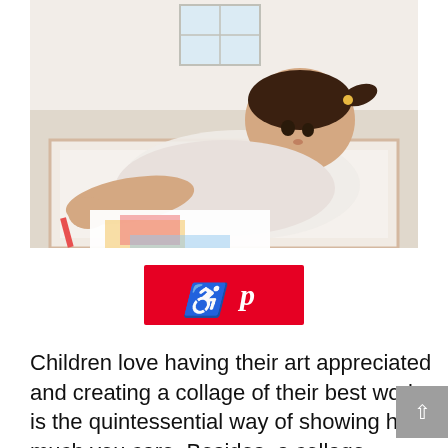[Figure (photo): A young girl with pigtails lying on a patterned rug, drawing or coloring on a piece of paper with a crayon or marker. She is wearing a polka-dot top. The background shows a bright room with a window.]
[Figure (logo): Pinterest logo button — red rectangle with white Pinterest 'P' icon in the center.]
Children love having their art appreciated and creating a collage of their best works is the quintessential way of showing how much you care. Besides, a collage ALWAYS looks